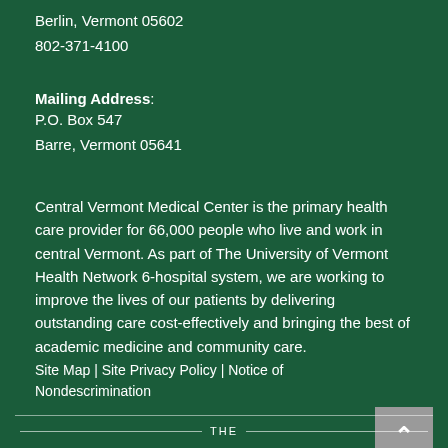Berlin, Vermont 05602
802-371-4100
Mailing Address:
P.O. Box 547
Barre, Vermont 05641
Central Vermont Medical Center is the primary health care provider for 66,000 people who live and work in central Vermont. As part of The University of Vermont Health Network 6-hospital system, we are working to improve the lives of our patients by delivering outstanding care cost-effectively and bringing the best of academic medicine and community care.
Site Map  |  Site Privacy Policy  |  Notice of Nondescrimination
THE